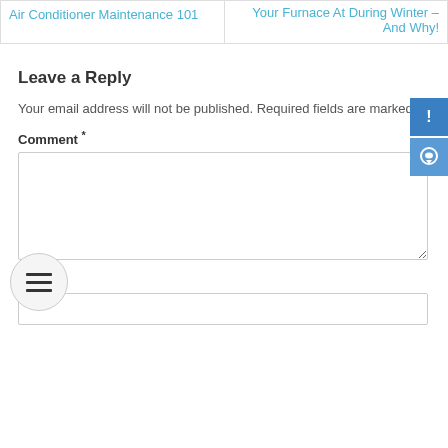| Air Conditioner Maintenance 101 | Your Furnace At During Winter – And Why! |
Leave a Reply
Your email address will not be published. Required fields are marked *
Comment *
Name *